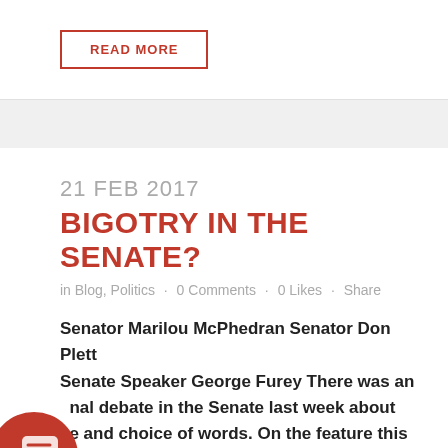READ MORE
21 FEB 2017
BIGOTRY IN THE SENATE?
in Blog, Politics · 0 Comments · 0 Likes · Share
Senator Marilou McPhedran Senator Don Plett Senate Speaker George Furey There was an nal debate in the Senate last week about e and choice of words. On the feature this week, we present an edited version of that debate,